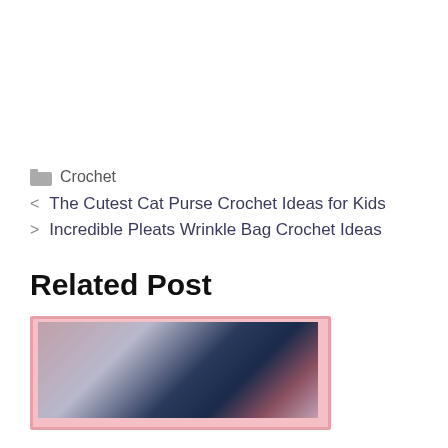Crochet
< The Cutest Cat Purse Crochet Ideas for Kids
> Incredible Pleats Wrinkle Bag Crochet Ideas
Related Post
[Figure (photo): A baby wrapped in a dark navy crochet blanket/cocoon with buttons, lying on a pink and white textured crochet blanket.]